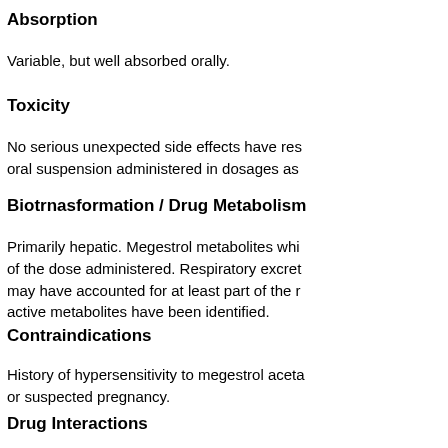Absorption
Variable, but well absorbed orally.
Toxicity
No serious unexpected side effects have res… oral suspension administered in dosages as…
Biotrnasformation / Drug Metabolism
Primarily hepatic. Megestrol metabolites whi… of the dose administered. Respiratory excret… may have accounted for at least part of the r… active metabolites have been identified.
Contraindications
History of hypersensitivity to megestrol aceta… or suspected pregnancy.
Drug Interactions
Pharmacokinetic studies show that there are… parameters of zidovudine or rifabutin to warr… is administered with these drugs. A pharmac… of megestrol acetate and indinavir results in…